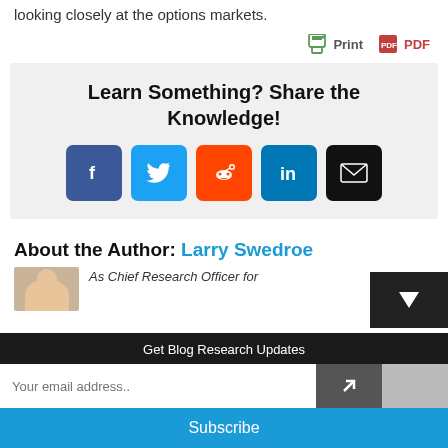looking closely at the options markets.
Print  PDF
Learn Something? Share the Knowledge!
[Figure (infographic): Social sharing buttons: Facebook, Twitter, Reddit, LinkedIn, Email]
About the Author: Larry Swedroe
As Chief Research Officer for
Get Blog Research Updates
Your email address..
Subscribe